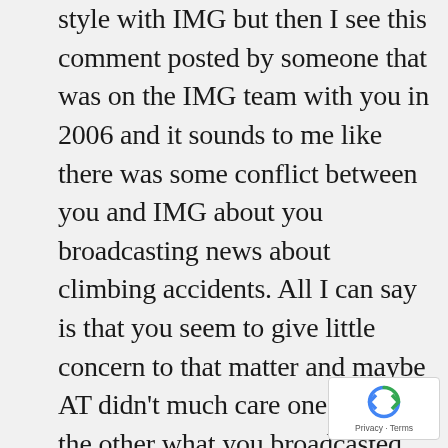style with IMG but then I see this comment posted by someone that was on the IMG team with you in 2006 and it sounds to me like there was some conflict between you and IMG about you broadcasting news about climbing accidents. All I can say is that you seem to give little concern to that matter and maybe AT didn't much care one way or the other what you broadcasted or when, but there is a higher credo in mountaineering than being the first one to blast news off the mountain, and that credo includes making sure next of kin are informed and the facts are complete before people go hitting the Send button on their little comms gizmos. If IMG was trying to
[Figure (other): reCAPTCHA badge with rotating arrows logo and Privacy - Terms links]